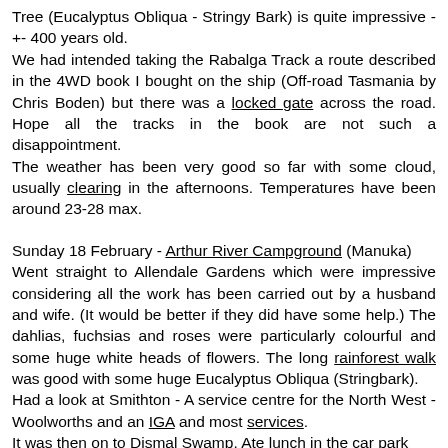Tree (Eucalyptus Obliqua - Stringy Bark) is quite impressive - +- 400 years old.
We had intended taking the Rabalga Track a route described in the 4WD book I bought on the ship (Off-road Tasmania by Chris Boden) but there was a locked gate across the road. Hope all the tracks in the book are not such a disappointment.
The weather has been very good so far with some cloud, usually clearing in the afternoons. Temperatures have been around 23-28 max.
Sunday 18 February - Arthur River Campground (Manuka)
Went straight to Allendale Gardens which were impressive considering all the work has been carried out by a husband and wife. (It would be better if they did have some help.) The dahlias, fuchsias and roses were particularly colourful and some huge white heads of flowers. The long rainforest walk was good with some huge Eucalyptus Obliqua (Stringbark).
Had a look at Smithton - A service centre for the North West - Woolworths and an IGA and most services.
It was then on to Dismal Swamp. Ate lunch in the car park